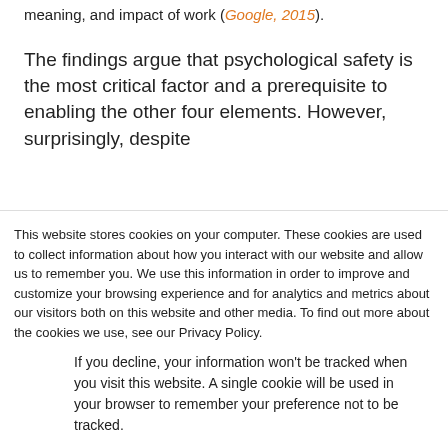meaning, and impact of work (Google, 2015).
The findings argue that psychological safety is the most critical factor and a prerequisite to enabling the other four elements. However, surprisingly, despite
This website stores cookies on your computer. These cookies are used to collect information about how you interact with our website and allow us to remember you. We use this information in order to improve and customize your browsing experience and for analytics and metrics about our visitors both on this website and other media. To find out more about the cookies we use, see our Privacy Policy.
If you decline, your information won't be tracked when you visit this website. A single cookie will be used in your browser to remember your preference not to be tracked.